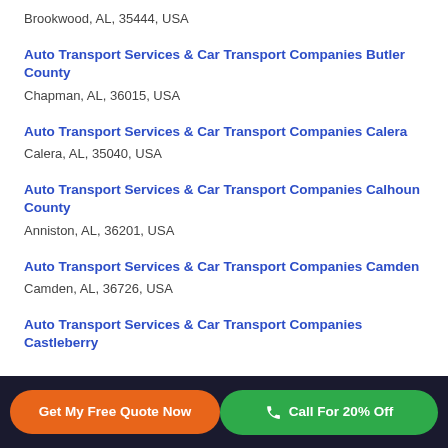Brookwood, AL, 35444, USA
Auto Transport Services & Car Transport Companies Butler County
Chapman, AL, 36015, USA
Auto Transport Services & Car Transport Companies Calera
Calera, AL, 35040, USA
Auto Transport Services & Car Transport Companies Calhoun County
Anniston, AL, 36201, USA
Auto Transport Services & Car Transport Companies Camden
Camden, AL, 36726, USA
Auto Transport Services & Car Transport Companies Castleberry